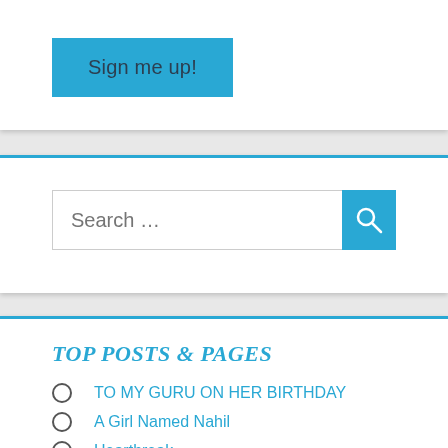Sign me up!
Search ...
TOP POSTS & PAGES
TO MY GURU ON HER BIRTHDAY
A Girl Named Nahil
Heartbreak
On Prejudice
Goodbye Sweet Shaman, My Friend